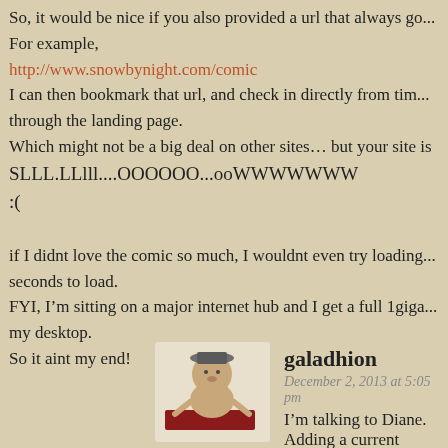So, it would be nice if you also provided a url that always go... For example,
http://www.snowbynight.com/comic
I can then bookmark that url, and check in directly from tim... through the landing page.
Which might not be a big deal on other sites... but your site is SLLL.LLlll....OOOOOO...ooWWWWWWW :(
if I didnt love the comic so much, I wouldnt even try loading... seconds to load.
FYI, I’m sitting on a major internet hub and I get a full 1giga... my desktop.
So it aint my end!
galadhion
December 2, 2013 at 5:05 pm
I’m talking to Diane. Adding a current page... She can just duplicate the page and rename it. It just w... other pages. But it would like to all the other pages. W...